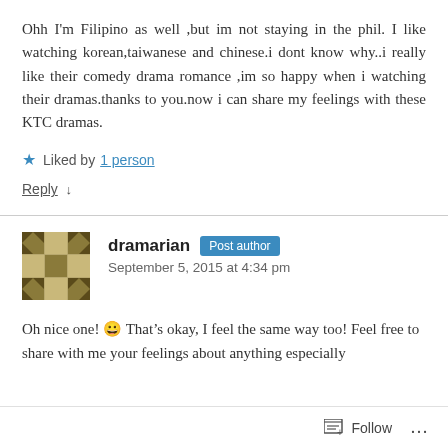Ohh I'm Filipino as well ,but im not staying in the phil. I like watching korean,taiwanese and chinese.i dont know why..i really like their comedy drama romance ,im so happy when i watching their dramas.thanks to you.now i can share my feelings with these KTC dramas.
Liked by 1 person
Reply ↓
dramarian Post author
September 5, 2015 at 4:34 pm
Oh nice one! 😀 That's okay, I feel the same way too! Feel free to share with me your feelings about anything especially